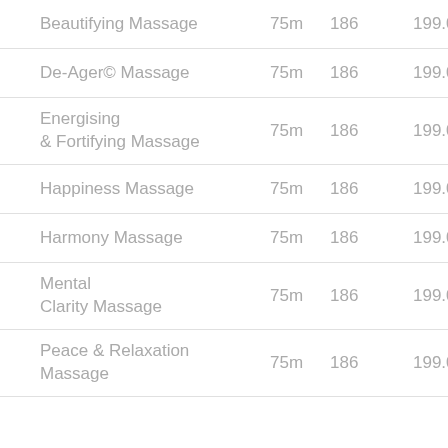| Service | Duration | Col3 | Price |
| --- | --- | --- | --- |
| Beautifying Massage | 75m | 186 | 199.02 |
| De-Ager© Massage | 75m | 186 | 199.02 |
| Energising & Fortifying Massage | 75m | 186 | 199.02 |
| Happiness Massage | 75m | 186 | 199.02 |
| Harmony Massage | 75m | 186 | 199.02 |
| Mental Clarity Massage | 75m | 186 | 199.02 |
| Peace & Relaxation Massage | 75m | 186 | 199.02 |